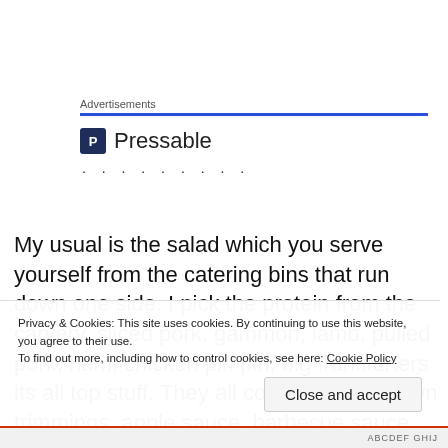Advertisements
[Figure (logo): Pressable logo with dark blue square icon containing letter P and text 'Pressable', followed by a row of dots]
My usual is the salad which you serve yourself from the catering bins that run down one side. I pick the protein from the carvery, sliced pork, gammon, lamb, pulled pork, ham, chicken piri piri, big frankfurters its all top stuff. They all come with their own trimmings, apple sauce, barbecue sauce, onions,
Privacy & Cookies: This site uses cookies. By continuing to use this website, you agree to their use.
To find out more, including how to control cookies, see here: Cookie Policy